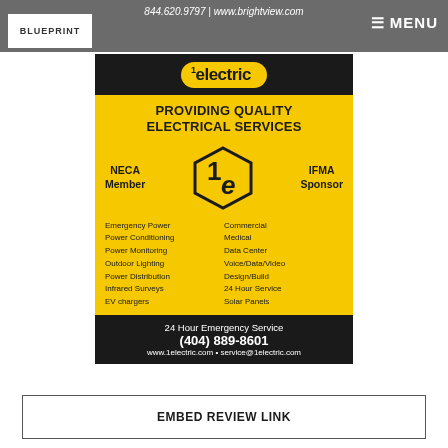844.620.9797 | www.brightview.com
[Figure (logo): Blueprint logo — white rectangle with border and bold text BLUEPRINT]
[Figure (infographic): 1electric advertisement: yellow and black ad with hexagonal 1e logo. Title: PROVIDING QUALITY ELECTRICAL SERVICES. NECA Member | IFMA Sponsor. Lists services: Emergency Power, Power Conditioning, Power Monitoring, Outdoor Lighting, Power Distribution, Infrared Surveys, EV chargers | Commercial, Medical, Data Center, Voice/Data/Video, Design/Build, 24 Hour Service, Solar Panels. Footer: 24 Hour Emergency Service (404) 889-8601 www.1electric.com service@1electric.com]
EMBED REVIEW LINK